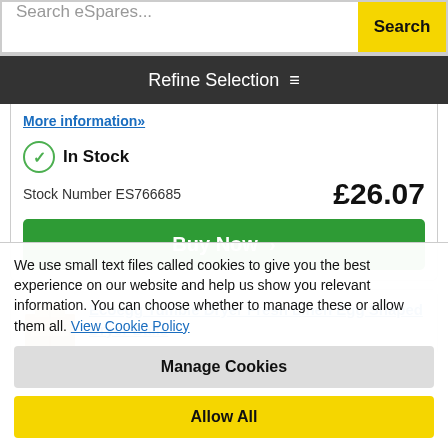Search eSpares...  Search
Refine Selection
More Information»
In Stock
Stock Number ES766685   £26.07
Buy Now >
Ecoegg Tumble Dryer Fresh Linen Egg Shaped Dryer Balls
We use small text files called cookies to give you the best experience on our website and help us show you relevant information. You can choose whether to manage these or allow them all. View Cookie Policy
Manage Cookies
Allow All